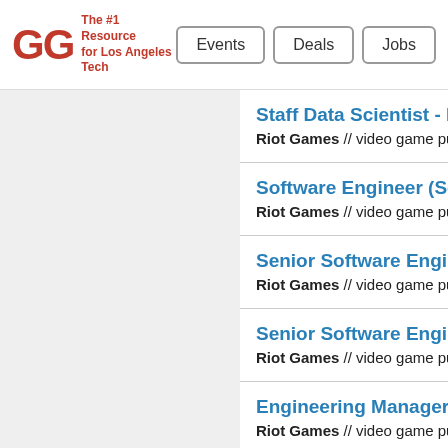GG The #1 Resource for Los Angeles Tech | Events | Deals | Jobs
Staff Data Scientist - Ri... | Riot Games // video game pu...
Software Engineer (Ser... | Riot Games // video game pu...
Senior Software Engine... | Riot Games // video game pu...
Senior Software Engine... | Riot Games // video game pu...
Engineering Manager - ... | Riot Games // video game pu...
Business Intelligence... | Riot Games // video game pu...